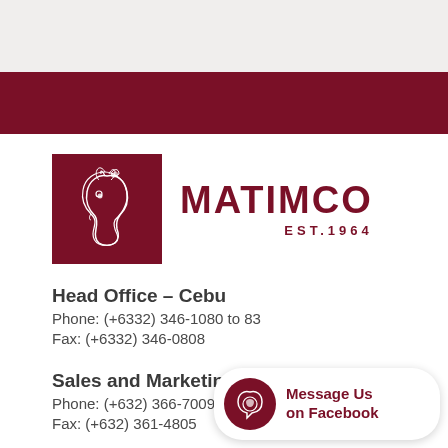[Figure (logo): Matimco logo: dark red square with white horse head illustration, company name MATIMCO in large dark red serif letters, EST.1964 below]
Head Office – Cebu
Phone: (+6332) 346-1080 to 83
Fax: (+6332) 346-0808
Sales and Marketing O...
Phone: (+632) 366-7009
Fax: (+632) 361-4805
[Figure (illustration): Facebook message us bubble with Matimco horse logo icon and text Message Us on Facebook]